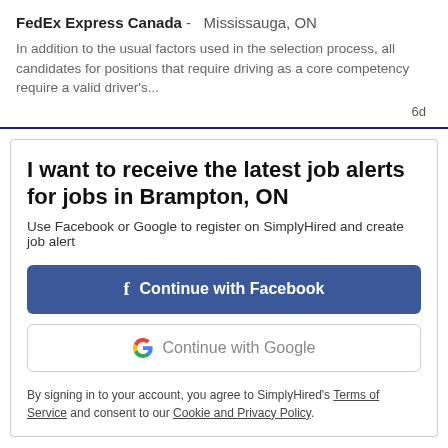FedEx Express Canada - Mississauga, ON
In addition to the usual factors used in the selection process, all candidates for positions that require driving as a core competency require a valid driver's...
6d
I want to receive the latest job alerts for jobs in Brampton, ON
Use Facebook or Google to register on SimplyHired and create job alert
Continue with Facebook
Continue with Google
By signing in to your account, you agree to SimplyHired's Terms of Service and consent to our Cookie and Privacy Policy.
Aircraft Groomer